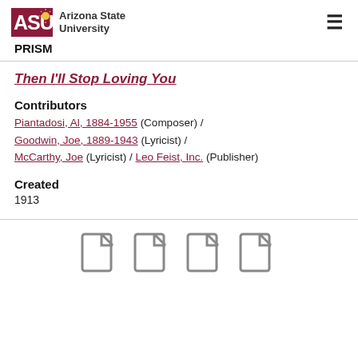ASU Arizona State University | PRISM
Then I'll Stop Loving You
Contributors
Piantadosi, Al, 1884-1955 (Composer) / Goodwin, Joe, 1889-1943 (Lyricist) / McCarthy, Joe (Lyricist) / Leo Feist, Inc. (Publisher)
Created
1913
[Figure (other): Four document/file thumbnail icons arranged in a 2x2 grid]